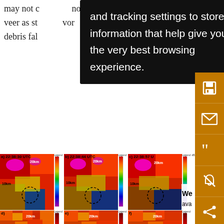may not b... and tracking settings to store information that help give you the very best browsing experience. ...not veer as st... ...avor debris fal...
[Figure (screenshot): Black cookie/tracking consent tooltip overlay with white text: 'and tracking settings to store information that help give you the very best browsing experience.']
[Figure (other): Orange sidebar with save, email, quote, alert/unsubscribe, and share icon buttons]
[Figure (other): Six radar panels (a-f) showing dual-polarization radar data at times 22:38:30 UTC, 22:38:44 UTC, 22:38:57 UTC and three more, with color scales and distance markers at 10km and 20km]